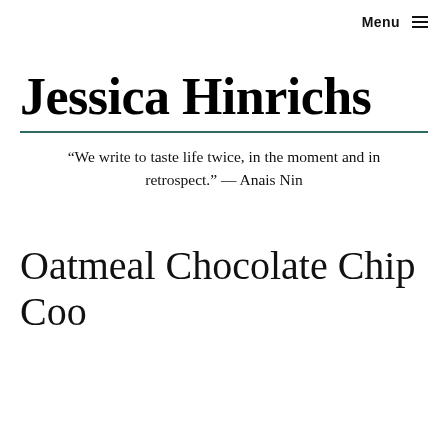Menu ≡
Jessica Hinrichs
“We write to taste life twice, in the moment and in retrospect.” — Anais Nin
Oatmeal Chocolate Chip Cookies